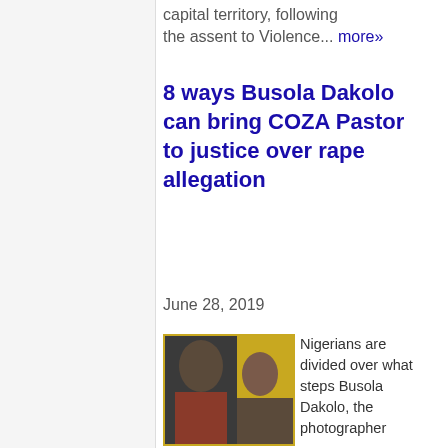capital territory, following the assent to Violence... more»
8 ways Busola Dakolo can bring COZA Pastor to justice over rape allegation
June 28, 2019
[Figure (photo): Photo of two people side by side against yellow background]
Nigerians are divided over what steps Busola Dakolo, the photographer wife of popular singer Timi... more»
Here's Busola Dakolo
[Figure (infographic): Advertisement: Back To School Essentials - Leesburg Premium Outlets with logo and directional arrow icon]